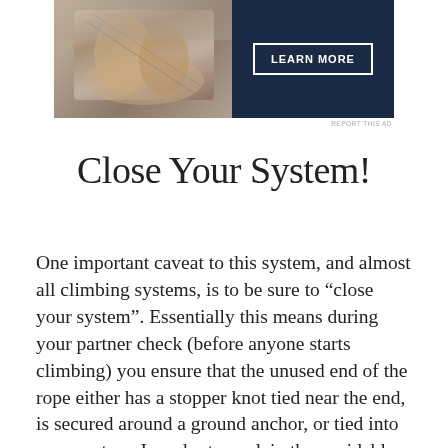[Figure (photo): Advertisement banner showing hands (presumably playing an instrument or doing a craft activity) on the left, and a dark navy background with a 'LEARN MORE' button on the right.]
REPORT THIS AD
Close Your System!
One important caveat to this system, and almost all climbing systems, is to be sure to “close your system”. Essentially this means during your partner check (before anyone starts climbing) you ensure that the unused end of the rope either has a stopper knot tied near the end, is secured around a ground anchor, or tied into your partner. In order to explain the avoidable accident we are